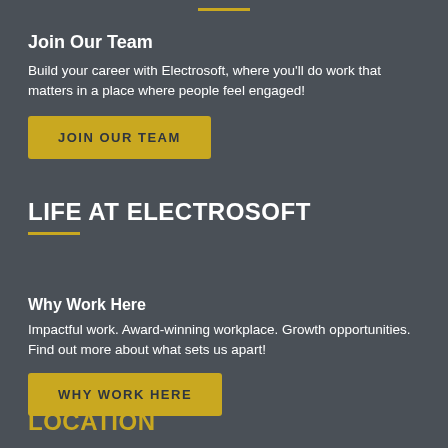Join Our Team
Build your career with Electrosoft, where you'll do work that matters in a place where people feel engaged!
JOIN OUR TEAM
LIFE AT ELECTROSOFT
Why Work Here
Impactful work. Award-winning workplace. Growth opportunities. Find out more about what sets us apart!
WHY WORK HERE
LOCATION